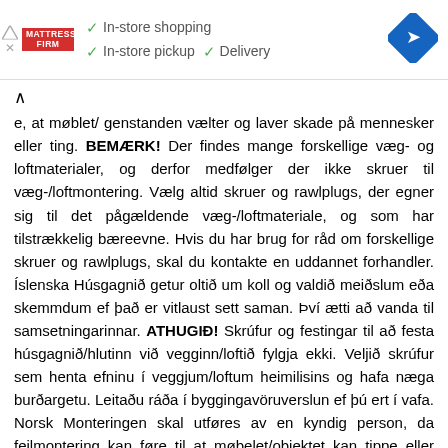[Figure (screenshot): Mattress Firm advertisement banner with checkmarks for In-store shopping, In-store pickup, and Delivery, plus a blue navigation diamond icon on the right.]
e, at møblet/ genstanden vælter og laver skade på mennesker eller ting. BEMÆRK! Der findes mange forskellige væg- og loftmaterialer, og derfor medfølger der ikke skruer til væg-/loftmontering. Vælg altid skruer og rawlplugs, der egner sig til det pågældende væg-/loftmateriale, og som har tilstrækkelig bæreevne. Hvis du har brug for råd om forskellige skruer og rawlplugs, skal du kontakte en uddannet forhandler. Íslenska Húsgagnið getur oltið um koll og valdið meiðslum eða skemmdum ef það er vitlaust sett saman. Því ætti að vanda til samsetningarinnar. ATHUGIÐ! Skrúfur og festingar til að festa húsgagnið/hlutinn við vegginn/loftið fylgja ekki. Veljið skrúfur sem henta efninu í veggjum/loftum heimilisins og hafa næga burðargetu. Leitaðu ráða í byggingavöruverslun ef þú ert í vafa. Norsk Monteringen skal utføres av en kyndig person, da feilmontering kan føre til at møbelet/objektet kan tippe eller falle og skade noe eller noen. OBS! Skruer eller festebeslag til å feste